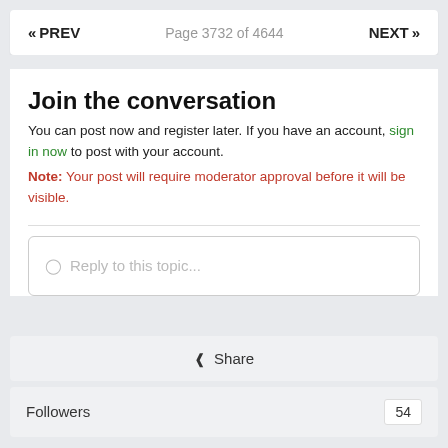« PREV   Page 3732 of 4644   NEXT »
Join the conversation
You can post now and register later. If you have an account, sign in now to post with your account.
Note: Your post will require moderator approval before it will be visible.
Reply to this topic...
Share
Followers	54